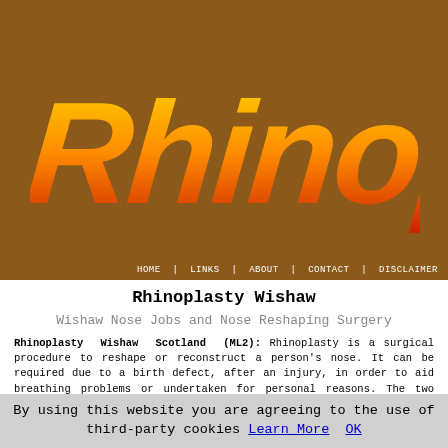[Figure (logo): Rhinoplasty logo text in large orange-to-yellow gradient italic font on brown background]
HOME | LINKS | ABOUT | CONTACT | DISCLAIMER
Rhinoplasty Wishaw
Wishaw Nose Jobs and Nose Reshaping Surgery
Rhinoplasty Wishaw Scotland (ML2): Rhinoplasty is a surgical procedure to reshape or reconstruct a person's nose. It can be required due to a birth defect, after an injury, in order to aid breathing problems or undertaken for personal reasons. The two main types of rhinoplasty surgeries are reconstructive and cosmetic. It is the most common of all facial plastic surgeries in Wishaw, and post surgery it can help improve breathing and create the effect
By using this website you are agreeing to the use of third-party cookies Learn More  OK